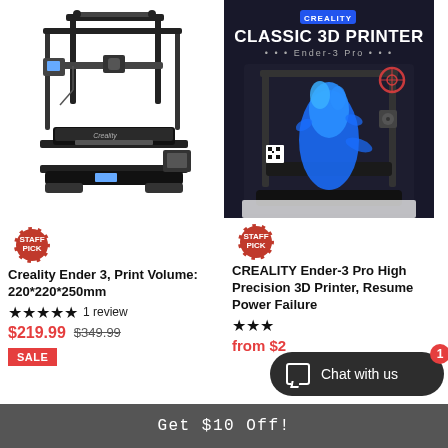[Figure (photo): Creality Ender 3 3D printer on white background, black metal frame with print bed]
[Figure (photo): Creality Ender-3 Pro product photo on dark background with blue 3D printed figure inside, labeled CLASSIC 3D PRINTER]
Creality Ender 3, Print Volume: 220*220*250mm
★★★★★ 1 review
$219.99 $349.99
SALE
CREALITY Ender-3 Pro High Precision 3D Printer, Resume Power Failure
★★★
from $2...
Chat with us
Get $10 Off!